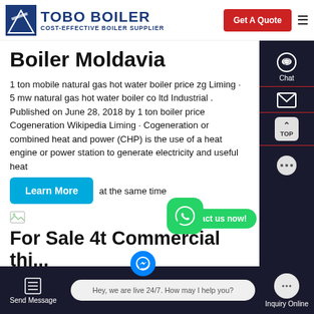TOBO BOILER — COST-EFFECTIVE BOILER SUPPLIER
Boiler Moldavia
1 ton mobile natural gas hot water boiler price zg Liming · 5 mw natural gas hot water boiler co ltd Industrial . Published on June 28, 2018 by 1 ton boiler price Cogeneration Wikipedia Liming · Cogeneration or combined heat and power (CHP) is the use of a heat engine or power station to generate electricity and useful heat at the same time
[Figure (screenshot): Small broken image icon]
For Sale 4t Commercial